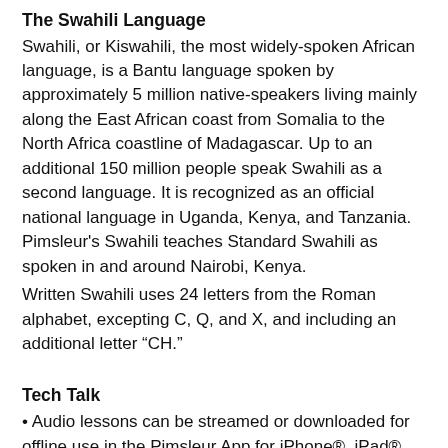The Swahili Language
Swahili, or Kiswahili, the most widely-spoken African language, is a Bantu language spoken by approximately 5 million native-speakers living mainly along the East African coast from Somalia to the North Africa coastline of Madagascar. Up to an additional 150 million people speak Swahili as a second language. It is recognized as an official national language in Uganda, Kenya, and Tanzania. Pimsleur's Swahili teaches Standard Swahili as spoken in and around Nairobi, Kenya.
Written Swahili uses 24 letters from the Roman alphabet, excepting C, Q, and X, and including an additional letter “CH.”
Tech Talk
• Audio lessons can be streamed or downloaded for offline use in the Pimsleur App for iPhone®, iPad®, and most Android™ devices.
• Audio lessons can also be played on Amazon® Echo® devices using the Alexa® Pimsleur Skill.
• A desktop version is available for Mac® or Windows® computers.